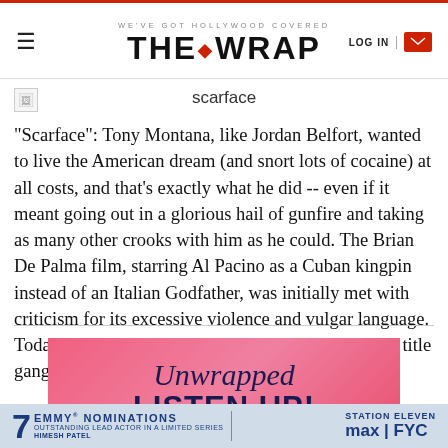WE'VE GOT HOLLYWOOD COVERED — THE WRAP — LOG IN
scarface
"Scarface": Tony Montana, like Jordan Belfort, wanted to live the American dream (and snort lots of cocaine) at all costs, and that's exactly what he did -- even if it meant going out in a glorious hail of gunfire and taking as many other crooks with him as he could. The Brian De Palma film, starring Al Pacino as a Cuban kingpin instead of an Italian Godfather, was initially met with criticism for its excessive violence and vulgar language. Today, many consider it a cinematic classic, and the title gangster is as cool as ever.
[Figure (infographic): Pink advertisement banner for 'Unwrapped' podcast with text 'LISTEN UP!']
[Figure (infographic): Bottom banner ad: 7 Emmy Nominations, Outstanding Lead Actor in a Limited Series, Himesh Patel, Station Eleven, MAX FYC]